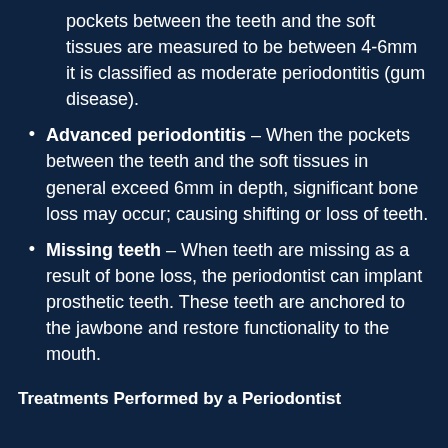pockets between the teeth and the soft tissues are measured to be between 4-6mm it is classified as moderate periodontitis (gum disease).
Advanced periodontitis – When the pockets between the teeth and the soft tissues in general exceed 6mm in depth, significant bone loss may occur; causing shifting or loss of teeth.
Missing teeth – When teeth are missing as a result of bone loss, the periodontist can implant prosthetic teeth. These teeth are anchored to the jawbone and restore functionality to the mouth.
Treatments Performed by a Periodontist